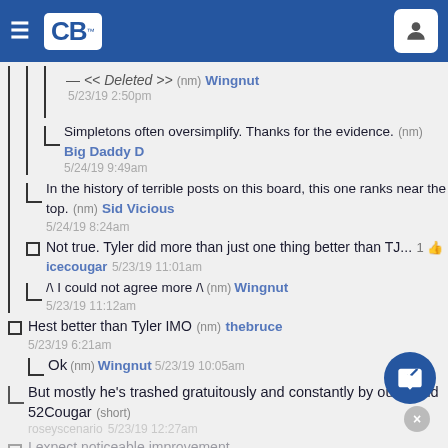CB (CougarsBoard) navigation bar
<< Deleted >> (nm) Wingnut 5/23/19 2:50pm
Simpletons often oversimplify. Thanks for the evidence. (nm) Big Daddy D 5/24/19 9:49am
In the history of terrible posts on this board, this one ranks near the top. (nm) Sid Vicious 5/24/19 8:24am
Not true. Tyler did more than just one thing better than TJ... 1 [like] icecougar 5/23/19 11:01am
/\ I could not agree more /\ (nm) Wingnut 5/23/19 11:12am
Hest better than Tyler IMO (nm) thebruce 5/23/19 6:21am
Ok (nm) Wingnut 5/23/19 10:05am
But mostly he's trashed gratuitously and constantly by our friend 52Cougar (short) roseyscenario 5/23/19 12:27am
I expect noticeable improvement